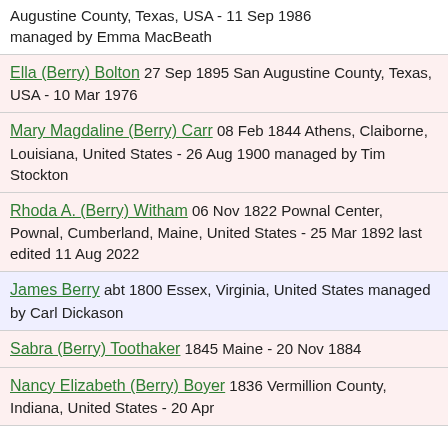Augustine County, Texas, USA - 11 Sep 1986 managed by Emma MacBeath
Ella (Berry) Bolton 27 Sep 1895 San Augustine County, Texas, USA - 10 Mar 1976
Mary Magdaline (Berry) Carr 08 Feb 1844 Athens, Claiborne, Louisiana, United States - 26 Aug 1900 managed by Tim Stockton
Rhoda A. (Berry) Witham 06 Nov 1822 Pownal Center, Pownal, Cumberland, Maine, United States - 25 Mar 1892 last edited 11 Aug 2022
James Berry abt 1800 Essex, Virginia, United States managed by Carl Dickason
Sabra (Berry) Toothaker 1845 Maine - 20 Nov 1884
Nancy Elizabeth (Berry) Boyer 1836 Vermillion County, Indiana, United States - 20 Apr